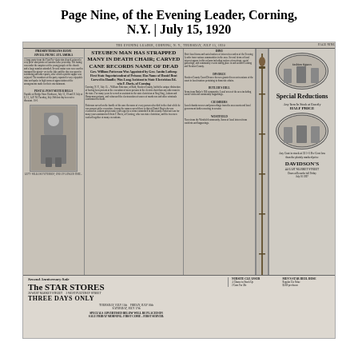Page Nine, of the Evening Leader, Corning, N.Y. | July 15, 1920
[Figure (photo): Scanned image of Page Nine of the Evening Leader newspaper, Corning, N.Y., dated Thursday July 15, 1920. The page contains multiple news columns with headlines including 'STEUBEN MAN HAS STRAPPED MANY IN DEATH CHAIR; CARVED CANE RECORDS NAME OF DEAD', a photograph of a uniformed man standing outdoors, advertisements including Davidson's clothing store with 'Special Reductions Any Item In Stock at Exactly HALF PRICE', and a 'Second Anniversary Sale The STAR STORES THREE DAYS ONLY' advertisement at the bottom.]